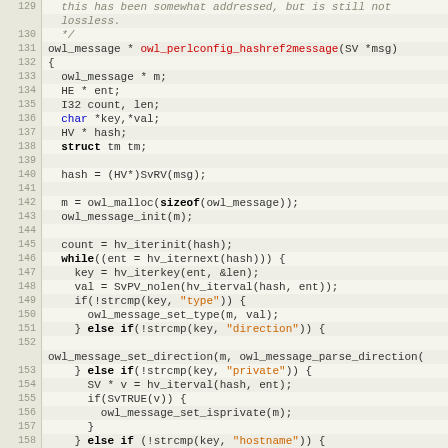[Figure (screenshot): Source code listing in C showing lines 129-159 of a file, with syntax highlighting. Function owl_perlconfig_hashref2message and related code visible.]